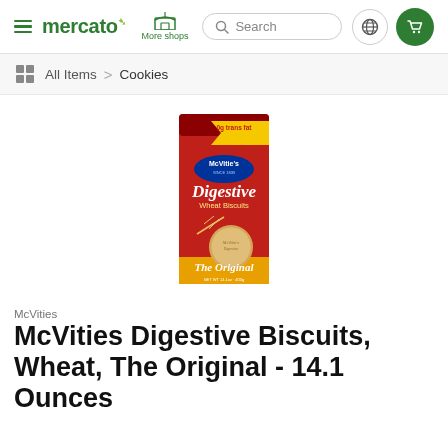mercato | More shops | Search | globe | cart
All Items > Cookies
[Figure (photo): McVities Digestive Wheat Biscuits The Original 14.1oz product box with red background, showing biscuit image and 0g trans fat banner]
McVities
McVities Digestive Biscuits, Wheat, The Original - 14.1 Ounces